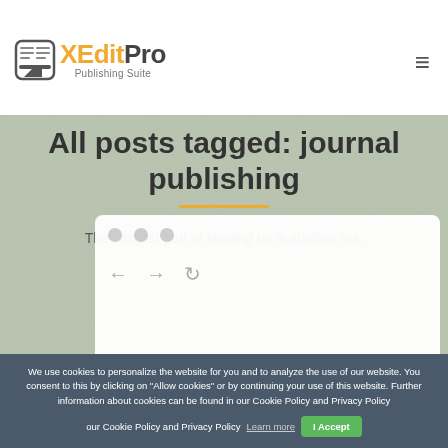[Figure (logo): XEditPro Publishing Suite logo with orange speech bubble icon and text]
All posts tagged: journal publishing
The hardest part of starting up is starting out.
[Figure (screenshot): Browser window screenshot showing navigation arrows and reload icon]
We use cookies to personalize the website for you and to analyze the use of our website. You consent to this by clicking on "Allow cookies" or by continuing your use of this website. Further information about cookies can be found in our Cookie Policy and Privacy Policy Learn more   I Accept